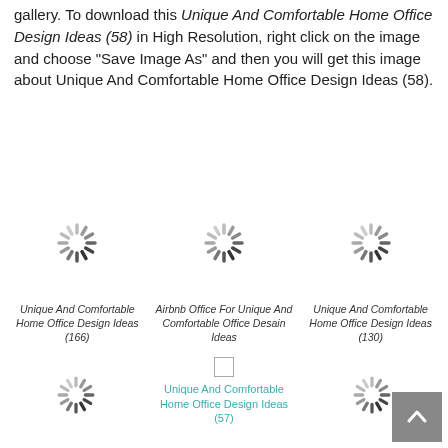gallery. To download this Unique And Comfortable Home Office Design Ideas (58) in High Resolution, right click on the image and choose "Save Image As" and then you will get this image about Unique And Comfortable Home Office Design Ideas (58).
[Figure (illustration): Loading spinner icon (top-left gallery cell, row 1)]
[Figure (illustration): Loading spinner icon (top-center gallery cell, row 1)]
[Figure (illustration): Loading spinner icon (top-right gallery cell, row 1)]
Unique And Comfortable Home Office Design Ideas (166)
Airbnb Office For Unique And Comfortable Office Desain Ideas
Unique And Comfortable Home Office Design Ideas (130)
[Figure (illustration): Loading spinner icon (bottom-left gallery cell, row 2)]
[Figure (photo): Broken image placeholder with cyan link text: Unique And Comfortable Home Office Design Ideas (57)]
[Figure (illustration): Loading spinner icon (bottom-right gallery cell, row 2)]